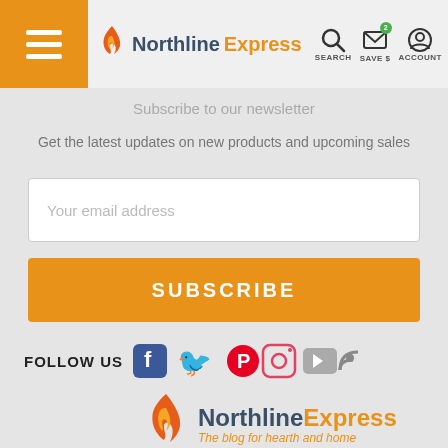Northline Express — SEARCH SAVE $ ACCOUNT
Subscribe to our newsletter
Get the latest updates on new products and upcoming sales
Your email address
SUBSCRIBE
FOLLOW US
[Figure (logo): Northline Express logo with flame icon and tagline: The blog for hearth and home]